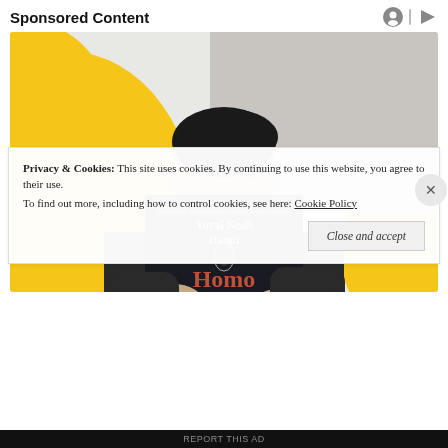Sponsored Content
[Figure (photo): A person holding up a copy of 'Homo Deus' by Yuval Noah Harari in front of their face, against a yellow and white decorative background.]
Privacy & Cookies: This site uses cookies. By continuing to use this website, you agree to their use. To find out more, including how to control cookies, see here: Cookie Policy
Close and accept